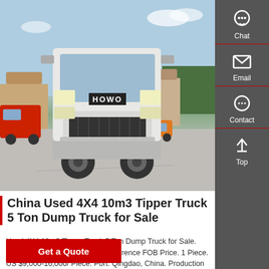[Figure (photo): Front view of a white HOWO dump truck parked in a truck yard. The truck is seen straight-on, showing the HOWO logo on the hood. Red trucks and other vehicles visible in the background, with buildings and trees.]
China Used 4X4 10m3 Tipper Truck 5 Ton Dump Truck for Sale
Used 4X4 10m3 Tipper Truck 5 Ton Dump Truck for Sale. Get Latest Price. Min. Order / Reference FOB Price. 1 Piece. US $9,000-16,000/ Piece. Port: Qingdao, China. Production Capacity: 3000units/Month.
Get a Quote